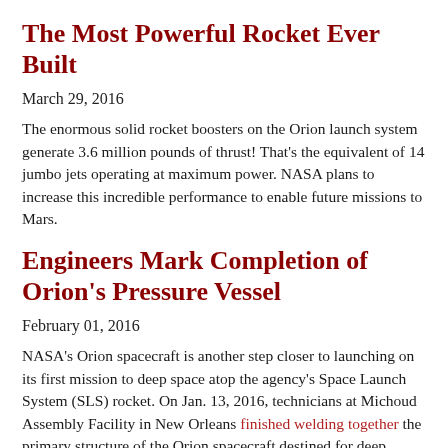The Most Powerful Rocket Ever Built
March 29, 2016
The enormous solid rocket boosters on the Orion launch system generate 3.6 million pounds of thrust! That's the equivalent of 14 jumbo jets operating at maximum power. NASA plans to increase this incredible performance to enable future missions to Mars.
Engineers Mark Completion of Orion's Pressure Vessel
February 01, 2016
NASA's Orion spacecraft is another step closer to launching on its first mission to deep space atop the agency's Space Launch System (SLS) rocket. On Jan. 13, 2016, technicians at Michoud Assembly Facility in New Orleans finished welding together the primary structure of the Orion spacecraft destined for deep space, marking another important step on the journey to Mars.
A chat with Congress, from space on This